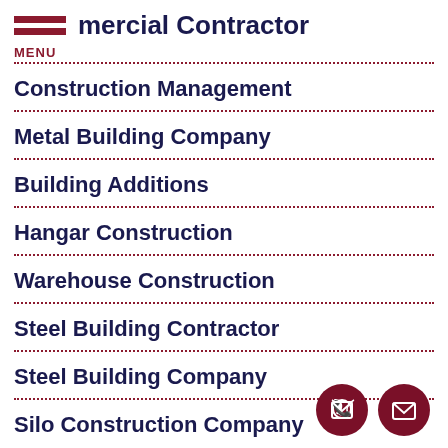mercial Contractor
MENU
Construction Management
Metal Building Company
Building Additions
Hangar Construction
Warehouse Construction
Steel Building Contractor
Steel Building Company
Silo Construction Company